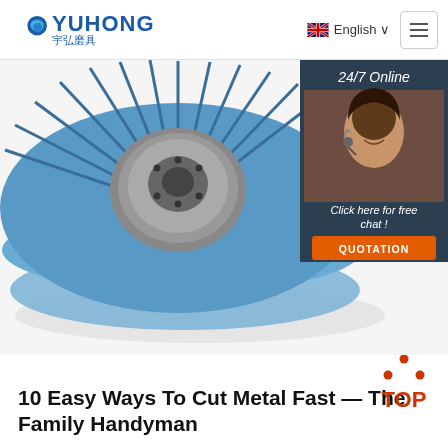YUHONG 宇弘磨具 | English | Menu
[Figure (photo): Close-up photo of stacked blue zirconia flap discs (abrasive grinding wheels) with visible flaps radiating from a central metal hub. A '24/7 Online' chat overlay widget appears on the right side with a photo of a female customer service agent wearing a headset, and an orange 'QUOTATION' button below text reading 'Click here for free chat!']
[Figure (logo): TOP button icon — orange triangle dots above the text 'TOP' in orange/red]
10 Easy Ways To Cut Metal Fast — The Family Handyman